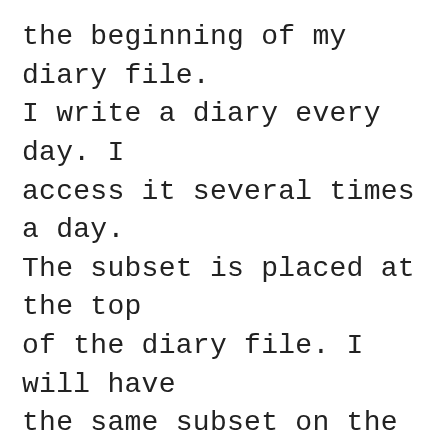the beginning of my diary file. I write a diary every day. I access it several times a day. The subset is placed at the top of the diary file. I will have the same subset on the top of my individual diary files every day for a week, sometimes more. When I am convinced that I know the commands, I will introduce a fresh subset of commands to the diary file. I insist on using the keyboard commands I have